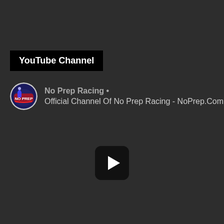YouTube Channel
[Figure (logo): No Prep Racing circular logo with race car imagery and red/blue colors]
No Prep Racing •
Official Channel Of No Prep Racing - NoPrep.Com
[Figure (other): YouTube play button icon - black rounded rectangle with white triangle play arrow]